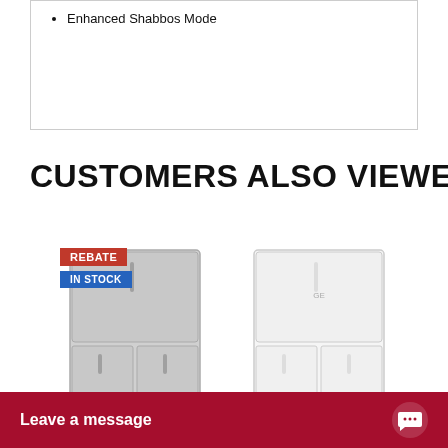Enhanced Shabbos Mode
CUSTOMERS ALSO VIEWED
[Figure (photo): Stainless steel French door refrigerator with REBATE and IN STOCK badges, Energy Star logo]
GE® ENERGY
[Figure (photo): White French door refrigerator with Energy Star logo]
Leave a message